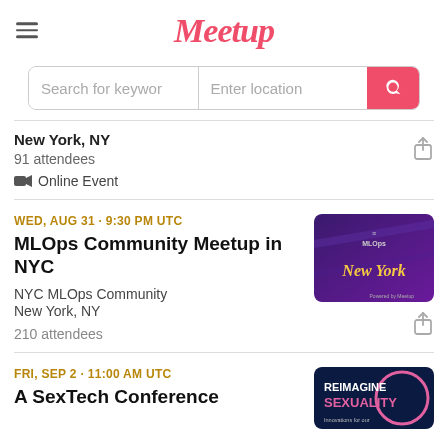[Figure (logo): Meetup logo in pink cursive script with hamburger menu icon on the left]
[Figure (screenshot): Search bar with 'Search for keywor' placeholder and 'Enter location' placeholder, with pink search button]
New York, NY
91 attendees
📹 Online Event
WED, AUG 31 · 9:30 PM UTC
MLOps Community Meetup in NYC
NYC MLOps Community
New York, NY
210 attendees
[Figure (illustration): Purple/violet event thumbnail showing MLOps logo and 'New York' in gold cursive text]
FRI, SEP 2 · 11:00 AM UTC
A SexTech Conference
[Figure (illustration): Dark blue thumbnail with 'REIMAGINE SEXUALITY' text and pink circular design]